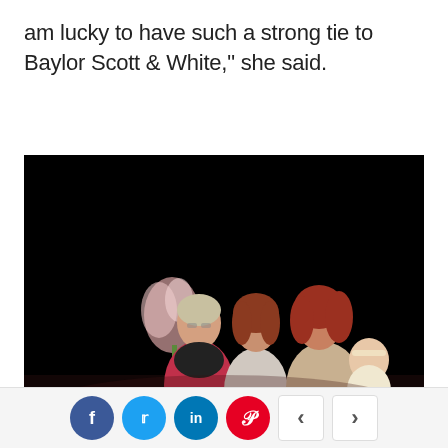am lucky to have such a strong tie to Baylor Scott & White," she said.
[Figure (photo): Three women and a baby posing together against a dark background. An older woman in a pink blazer on the left holds flowers, a middle-aged woman in the center, and a younger woman on the right holds an infant.]
LeAnn Haddock, MD, obstetrician-gynecologist on the medical staff at Baylor
f  t  in  p  <  >